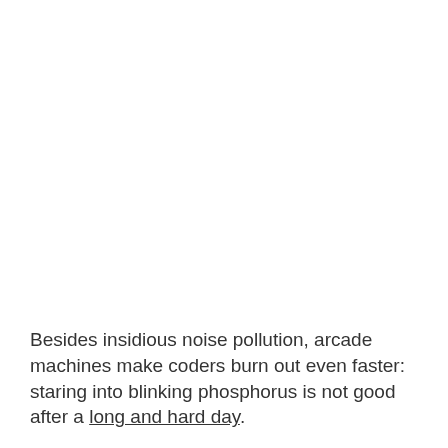Besides insidious noise pollution, arcade machines make coders burn out even faster: staring into blinking phosphorus is not good after a long and hard day.